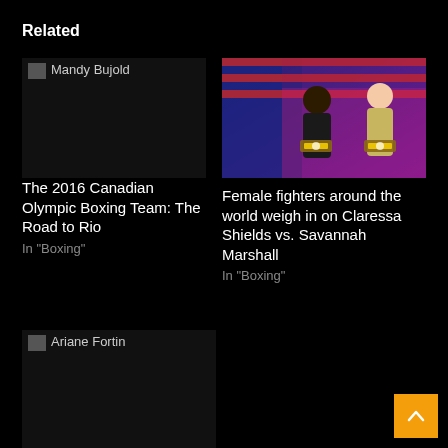Related
[Figure (photo): Broken image placeholder for Mandy Bujold]
[Figure (photo): Photo of two female boxers, Claressa Shields and Savannah Marshall, posing with championship belts in front of an American flag backdrop]
The 2016 Canadian Olympic Boxing Team: The Road to Rio
In "Boxing"
Female fighters around the world weigh in on Claressa Shields vs. Savannah Marshall
In "Boxing"
[Figure (photo): Broken image placeholder for Ariane Fortin]
Rio 2016: Ariane Fortin eliminated in split-decision
[Figure (other): Back to top arrow button (orange)]